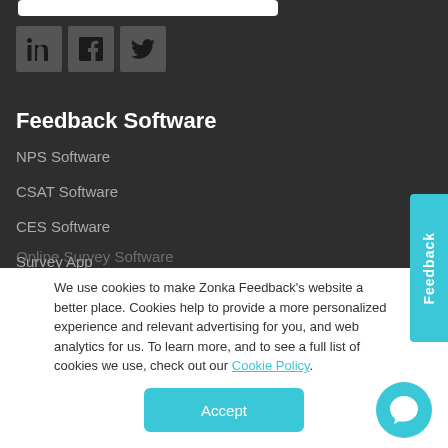[Figure (screenshot): Social media icons for LinkedIn, Facebook, and Twitter on dark background]
Feedback Software
NPS Software
CSAT Software
CES Software
Survey App
Online Survey Software
We use cookies to make Zonka Feedback's website a better place. Cookies help to provide a more personalized experience and relevant advertising for you, and web analytics for us. To learn more, and to see a full list of cookies we use, check out our Cookie Policy.